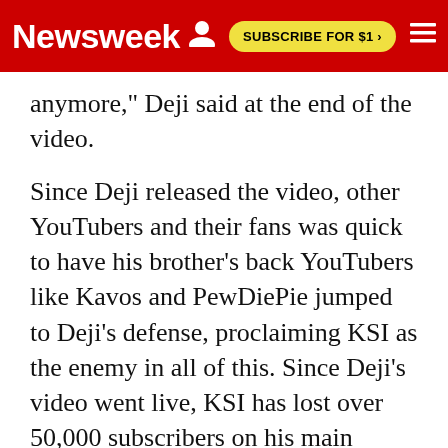Newsweek | SUBSCRIBE FOR $1 >
anymore," Deji said at the end of the video.
Since Deji released the video, other YouTubers and their fans was quick to have his brother's back YouTubers like Kavos and PewDiePie jumped to Deji's defense, proclaiming KSI as the enemy in all of this. Since Deji's video went live, KSI has lost over 50,000 subscribers on his main channel while Deji's channel ComedyShortsGamer has gained 100,000 subs according to SocialBlade.